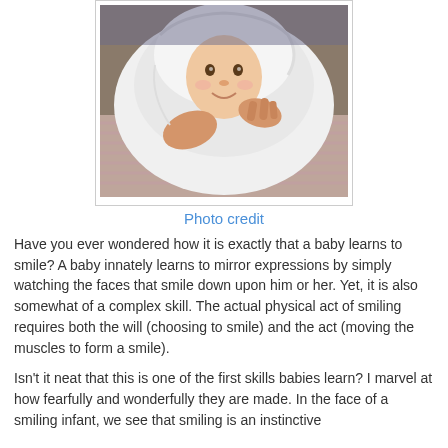[Figure (photo): A smiling baby wrapped in a white towel or blanket, lying down. An adult's hands are adjusting the blanket around the baby's face. The baby appears happy and content.]
Photo credit
Have you ever wondered how it is exactly that a baby learns to smile? A baby innately learns to mirror expressions by simply watching the faces that smile down upon him or her. Yet, it is also somewhat of a complex skill. The actual physical act of smiling requires both the will (choosing to smile) and the act (moving the muscles to form a smile).
Isn't it neat that this is one of the first skills babies learn? I marvel at how fearfully and wonderfully they are made. In the face of a smiling infant, we see that smiling is an instinctive